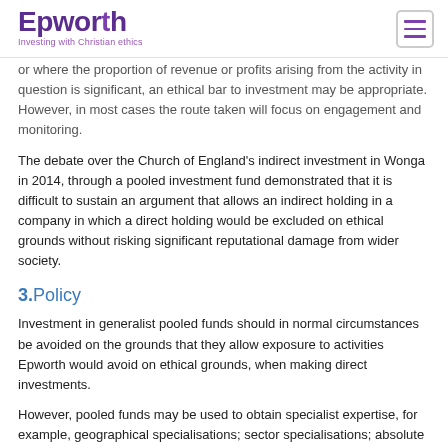Epworth — Investing with Christian ethics
or where the proportion of revenue or profits arising from the activity in question is significant, an ethical bar to investment may be appropriate. However, in most cases the route taken will focus on engagement and monitoring.
The debate over the Church of England's indirect investment in Wonga in 2014, through a pooled investment fund demonstrated that it is difficult to sustain an argument that allows an indirect holding in a company in which a direct holding would be excluded on ethical grounds without risking significant reputational damage from wider society.
3.Policy
Investment in generalist pooled funds should in normal circumstances be avoided on the grounds that they allow exposure to activities Epworth would avoid on ethical grounds, when making direct investments.
However, pooled funds may be used to obtain specialist expertise, for example, geographical specialisations; sector specialisations; absolute return strategies; venture capital and other early stage enterprises; and